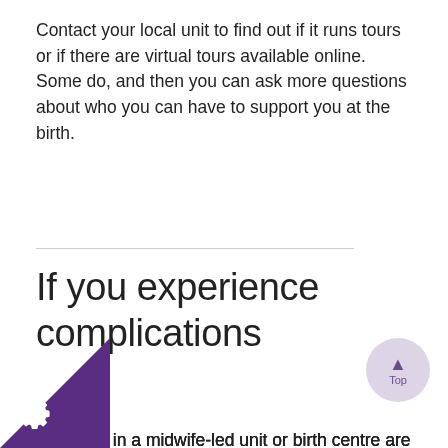Contact your local unit to find out if it runs tours or if there are virtual tours available online. Some do, and then you can ask more questions about who you can have to support you at the birth.
If you experience complications
Midwives in a midwife-led unit or birth centre are highly skilled. If you feel you need extra pain relief or experience complications during labour and birth though, you may be transferred to an obstetric unit. Specialist staff including anaesthetists (for epidurals) and obstetricians will look after you there as well as